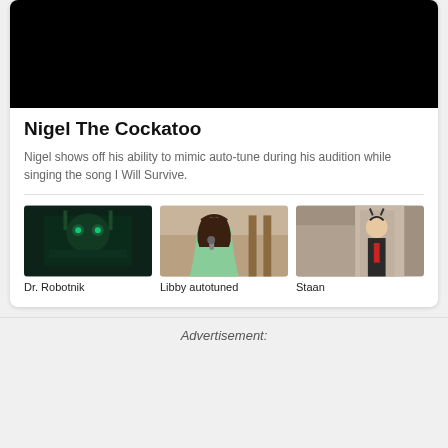[Figure (screenshot): Black video player area at top of card]
Nigel The Cockatoo
Nigel shows off his ability to mimic auto-tune during his audition while singing the song I Will Survive.
[Figure (screenshot): Dr. Robotnik thumbnail – dark green sci-fi scene]
Dr. Robotnik
[Figure (illustration): Libby autotuned thumbnail – animated girl singing with microphone]
Libby autotuned
[Figure (photo): Staan thumbnail – person in costume with horns]
Staan
Advertisement: